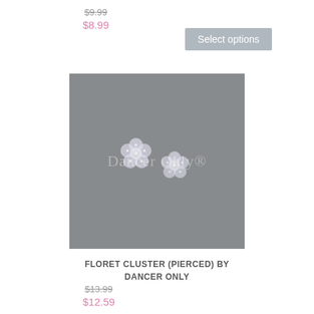$9.99 (strikethrough), $8.99 (sale price)
Select options
[Figure (photo): Two flower-shaped crystal cluster earrings (pierced) displayed on a grey background with 'Dancer Only' watermark text.]
FLORET CLUSTER (PIERCED) BY DANCER ONLY
$13.99 (strikethrough), $12.59 (sale price)
Add to cart